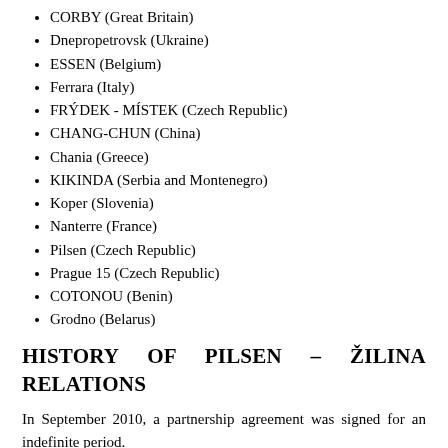CORBY (Great Britain)
Dnepropetrovsk (Ukraine)
ESSEN (Belgium)
Ferrara (Italy)
FRÝDEK - MÍSTEK (Czech Republic)
CHANG-CHUN (China)
Chania (Greece)
KIKINDA (Serbia and Montenegro)
Koper (Slovenia)
Nanterre (France)
Pilsen (Czech Republic)
Prague 15 (Czech Republic)
COTONOU (Benin)
Grodno (Belarus)
HISTORY OF PILSEN – ŽILINA RELATIONS
In September 2010, a partnership agreement was signed for an indefinite period.
There have been numerous mutual events such as performances by musical ensembles and bands, theater performances (both classical and puppet), presentations of traditional crafts, workshops, participations of representatives of both municipalities for the...